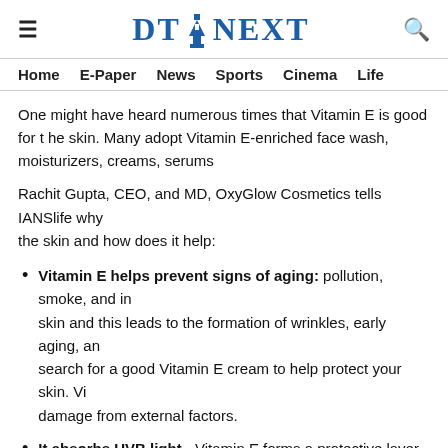DT NEXT
Home   E-Paper   News   Sports   Cinema   Life
One might have heard numerous times that Vitamin E is good for the skin. Many adopt Vitamin E-enriched face wash, moisturizers, creams, serums
Rachit Gupta, CEO, and MD, OxyGlow Cosmetics tells IANSlife why Vitamin E is good for the skin and how does it help:
Vitamin E helps prevent signs of aging: pollution, smoke, and infrared radiation enter the skin and this leads to the formation of wrinkles, early aging, and more. Therefore, search for a good Vitamin E cream to help protect your skin. Vitamin E prevents damage from external factors.
It absorbs UVB light - Vitamin E forms a protective layer on the skin that absorbs harsh UVB light that causes aging of the skin. The combination of Vitamin E works wonders with your SPF and gives an excellent effect on your skin.